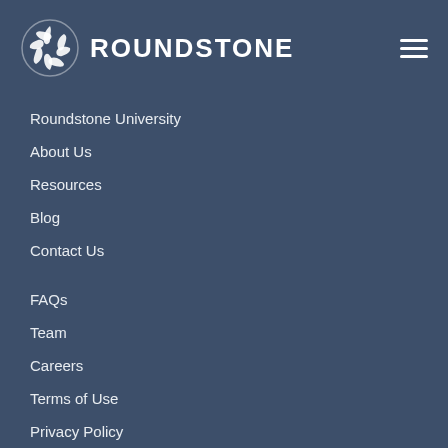[Figure (logo): Roundstone logo: circular swirl icon in white followed by ROUNDSTONE text in white bold letters]
Roundstone University
About Us
Resources
Blog
Contact Us
FAQs
Team
Careers
Terms of Use
Privacy Policy
CSI Dashboard